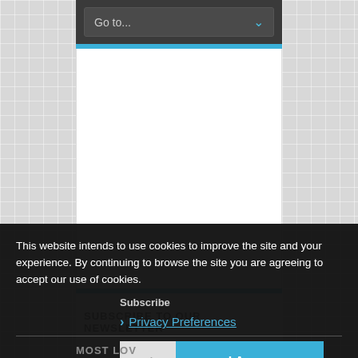Go to...
SUBSCRIBE TO OUR NEWSLETTER
This website intends to use cookies to improve the site and your experience. By continuing to browse the site you are agreeing to accept our use of cookies.
Subscribe
Privacy Preferences
I Agree
MOST LOV...